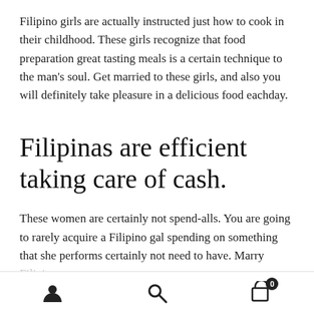Filipino girls are actually instructed just how to cook in their childhood. These girls recognize that food preparation great tasting meals is a certain technique to the man's soul. Get married to these girls, and also you will definitely take pleasure in a delicious food eachday.
Filipinas are efficient taking care of cash.
These women are certainly not spend-alls. You are going to rarely acquire a Filipino gal spending on something that she performs certainly not need to have. Marry Filipina